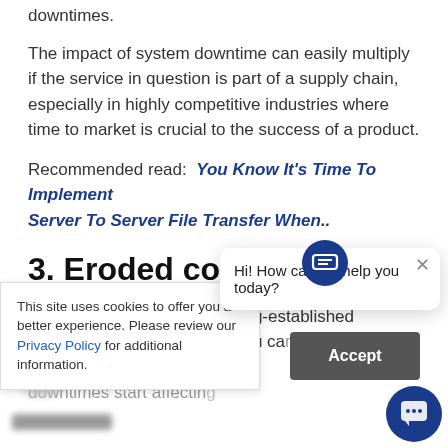downtimes.
The impact of system downtime can easily multiply if the service in question is part of a supply chain, especially in highly competitive industries where time to market is crucial to the success of a product.
Recommended read:  You Know It's Time To Implement Server To Server File Transfer When..
3. Eroded confidence
Even trading partners with long-established business relationships with you can start to waver when downtimes start affecting